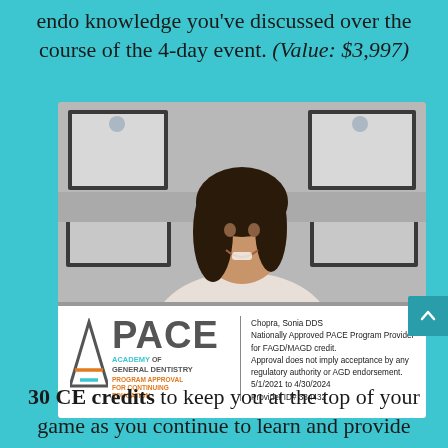endo knowledge you've discussed over the course of the 4-day event. (Value: $3,997)
[Figure (photo): Photo of a smiling woman (dentist) in front of framed certificates, with a PACE Academy of General Dentistry Program Approval for Continuing Education badge below. Badge shows: Chopra, Sonia DDS, Nationally Approved PACE Program Provider for FAGD/MAGD credit. Approval does not imply acceptance by any regulatory authority or AGD endorsement. 5/1/2021 to 4/30/2024. Provider ID# 384432.]
30 CE credits to keep you at the top of your game as you continue to learn and provide